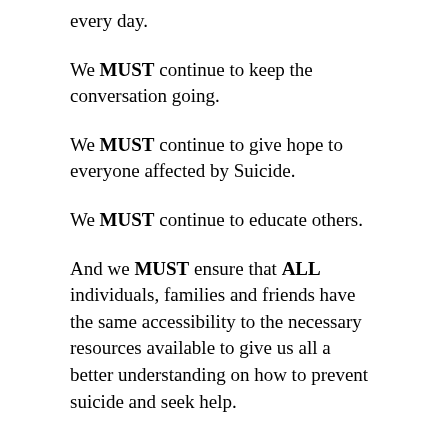every day.
We MUST continue to keep the conversation going.
We MUST continue to give hope to everyone affected by Suicide.
We MUST continue to educate others.
And we MUST ensure that ALL individuals, families and friends have the same accessibility to the necessary resources available to give us all a better understanding on how to prevent suicide and seek help.